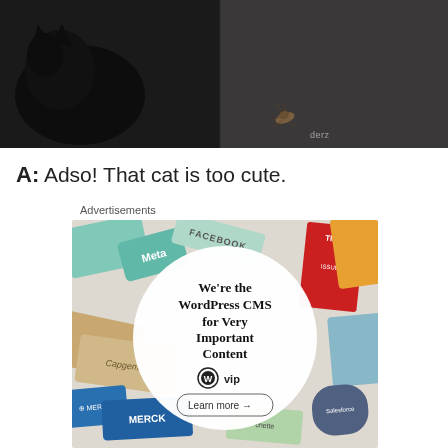[Figure (photo): Dark photograph of a black cat on a grey/dark surface, with a small insect or bug visible on the textured carpet/floor. Watermark text 'derz' visible at bottom right of photo.]
A: Adso! That cat is too cute.
Advertisements
[Figure (illustration): WordPress VIP advertisement. White circle in center reads 'We're the WordPress CMS for Very Important Content' with WordPress VIP logo and 'Learn more →' button. Background shows colorful overlapping cards/logos including Meta, Facebook, Capgemini, Merck, Salesforce, Time magazine, and other brand cards.]